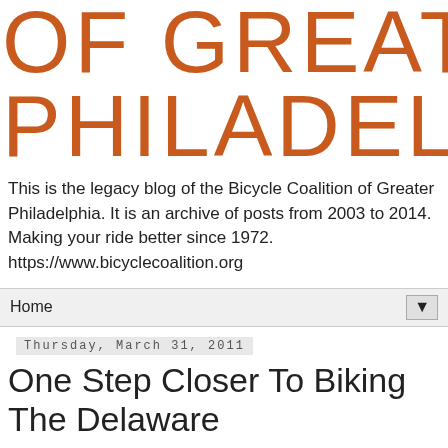OF GREATER PHILADELPHIA
This is the legacy blog of the Bicycle Coalition of Greater Philadelphia. It is an archive of posts from 2003 to 2014. Making your ride better since 1972. https://www.bicyclecoalition.org
Home
Thursday, March 31, 2011
One Step Closer To Biking The Delaware
A critical piece of the Central Delaware
[Figure (map): Partial map image visible at bottom right of the page]